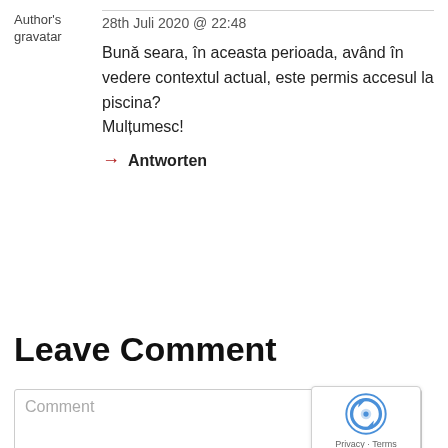Author's gravatar
28th Juli 2020 @ 22:48
Bună seara, în aceasta perioada, având în vedere contextul actual, este permis accesul la piscina?
Mulțumesc!
→ Antworten
Leave Comment
Comment